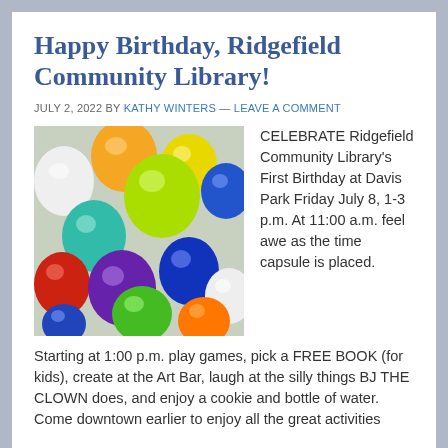Happy Birthday, Ridgefield Community Library!
JULY 2, 2022 BY KATHY WINTERS — LEAVE A COMMENT
[Figure (photo): A colorful pile of birthday balloons in various colors including yellow, green, blue, purple, red, orange, white, and teal.]
CELEBRATE Ridgefield Community Library's First Birthday at Davis Park Friday July 8, 1-3 p.m. At 11:00 a.m. feel awe as the time capsule is placed. Starting at 1:00 p.m. play games, pick a FREE BOOK (for kids), create at the Art Bar, laugh at the silly things BJ THE CLOWN does, and enjoy a cookie and bottle of water.
Come downtown earlier to enjoy all the great activities